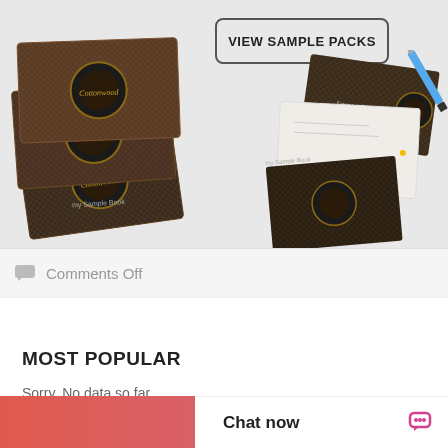[Figure (photo): Banner showing sample packs / books on left and right sides with a 'VIEW SAMPLE PACKS' button in the center-top area. Left side shows stacked dark leather-look sample books with gold branding. Right side shows similar sample books arranged vertically.]
VIEW SAMPLE PACKS
Comments Off
MOST POPULAR
Sorry. No data so far.
Chat now